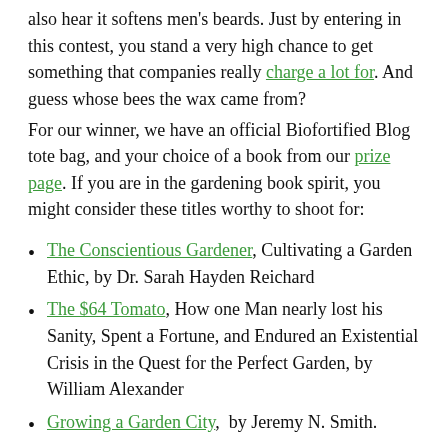also hear it softens men's beards. Just by entering in this contest, you stand a very high chance to get something that companies really charge a lot for. And guess whose bees the wax came from?
For our winner, we have an official Biofortified Blog tote bag, and your choice of a book from our prize page. If you are in the gardening book spirit, you might consider these titles worthy to shoot for:
The Conscientious Gardener, Cultivating a Garden Ethic, by Dr. Sarah Hayden Reichard
The $64 Tomato, How one Man nearly lost his Sanity, Spent a Fortune, and Endured an Existential Crisis in the Quest for the Perfect Garden, by William Alexander
Growing a Garden City,  by Jeremy N. Smith.